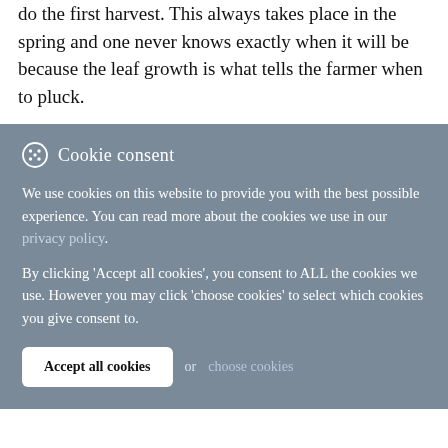do the first harvest. This always takes place in the spring and one never knows exactly when it will be because the leaf growth is what tells the farmer when to pluck.
Cookie consent
We use cookies on this website to provide you with the best possible experience. You can read more about the cookies we use in our privacy policy.
By clicking 'Accept all cookies', you consent to ALL the cookies we use. However you may click 'choose cookies' to select which cookies you give consent to.
Accept all cookies  or  choose cookies